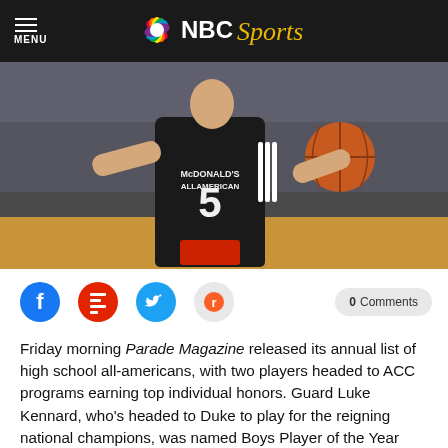MENU | NBC Sports
[Figure (photo): Basketball player wearing McDonald's All American jersey number 5, dribbling basketball during game]
[Figure (infographic): Social sharing icons: Facebook, Flipboard, Twitter, Reddit, and a 0 Comments button]
Friday morning Parade Magazine released its annual list of high school all-americans, with two players headed to ACC programs earning top individual honors. Guard Luke Kennard, who's headed to Duke to play for the reigning national champions, was named Boys Player of the Year